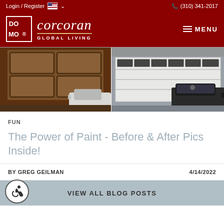Login / Register  (310) 341-2017
[Figure (logo): DOMO MOMO logo with Corcoran Global Living branding on dark red background with MENU button]
[Figure (photo): Two side-by-side garage door photos: left shows a brown wooden garage door before painting, right shows a white garage door after painting, both with cars in driveway]
FUN
The Power of Paint - Before & After Pics Inside!
BY GREG GEILMAN	4/14/2022
VIEW ALL BLOG POSTS